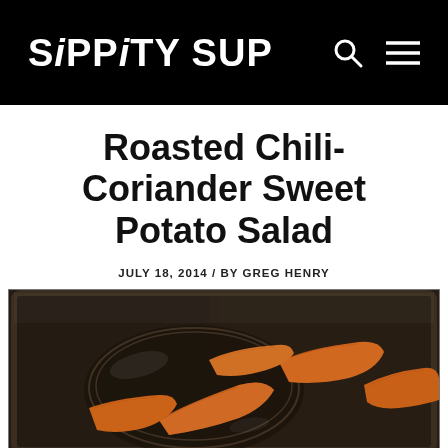SiPPiTY SUP
Roasted Chili-Coriander Sweet Potato Salad
JULY 18, 2014 / BY GREG HENRY
[Figure (photo): Sweet potato wedges in a dark roasting pan with a glass bowl, photographed from above on a dark metal surface]